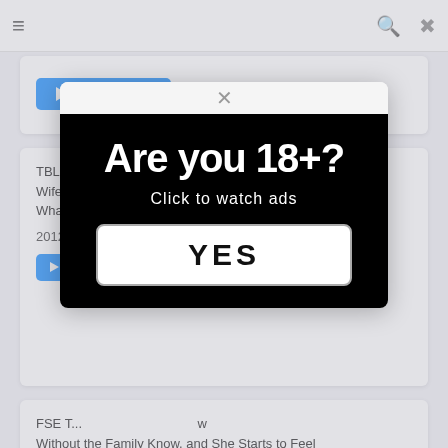≡  🔍  ✕
▶ Play Trailer
TBL-O... Wife a... What...
2012
▶ P...
[Figure (screenshot): Age verification modal ad overlay with black background, large white bold text reading 'Are you 18+?', subtext 'Click to watch ads', and a white button with bold text 'YES']
FSE T... Without the Family Know, and She Starts to Feel Incontinent